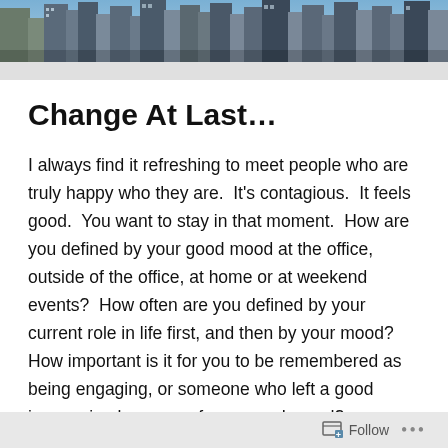[Figure (photo): Aerial view of city skyscrapers used as a page header banner image.]
Change At Last…
I always find it refreshing to meet people who are truly happy who they are.  It's contagious.  It feels good.  You want to stay in that moment.  How are you defined by your good mood at the office, outside of the office, at home or at weekend events?  How often are you defined by your current role in life first, and then by your mood?  How important is it for you to be remembered as being engaging, or someone who left a good impression because of your good mood?
Here's a sample talk I developed of how you can explain
Follow …